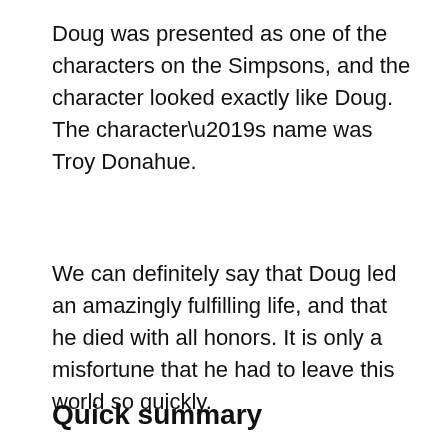Doug was presented as one of the characters on the Simpsons, and the character looked exactly like Doug. The character’s name was Troy Donahue.
We can definitely say that Doug led an amazingly fulfilling life, and that he died with all honors. It is only a misfortune that he had to leave this world so quickly.
Quick summary